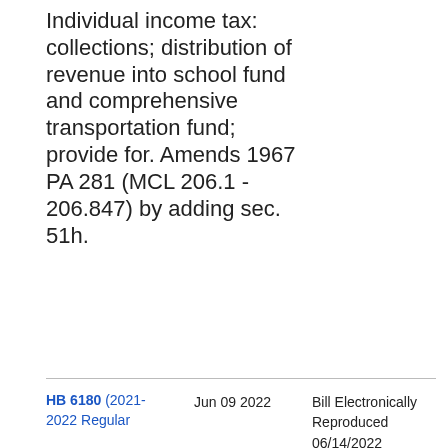Individual income tax: collections; distribution of revenue into school fund and comprehensive transportation fund; provide for. Amends 1967 PA 281 (MCL 206.1 - 206.847) by adding sec. 51h.
HB 6180 (2021-2022 Regular    Jun 09 2022    Bill Electronically Reproduced 06/14/2022